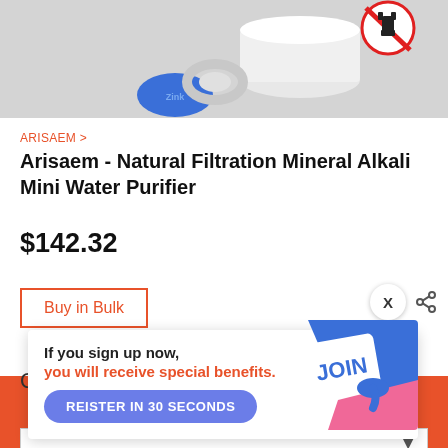[Figure (photo): Product photo showing water purifier components including blue mineral tablet and white filter ring, with a no-electricity symbol (red circle with plug icon) in the top right corner]
ARISAEM >
Arisaem - Natural Filtration Mineral Alkali Mini Water Purifier
$142.32
Buy in Bulk
[Figure (infographic): Popup banner with text: 'If you sign up now, you will receive special benefits.' with a blue REISTER IN 30 SECONDS button, and a JOIN graphic showing colorful paper/card shapes on the right side. An X close button is in the top right corner.]
Add to Cart